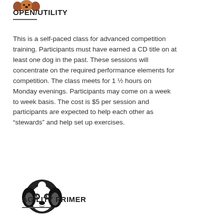[Figure (illustration): Small brown dog icon (top portion, ears visible) above OPEN/UTILITY heading]
OPEN/UTILITY
This is a self-paced class for advanced competition training. Participants must have earned a CD title on at least one dog in the past. These sessions will concentrate on the required performance elements for competition. The class meets for 1 ½ hours on Monday evenings. Participants may come on a week to week basis. The cost is $5 per session and participants are expected to help each other as “stewards” and help set up exercises.
[Figure (illustration): Black and white dog face icon (Bernese mountain dog style) above AGILITY PRIMER heading]
AGILITY PRIMER